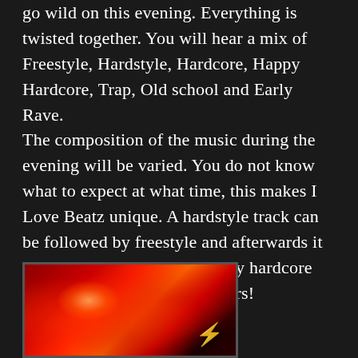go wild on this evening. Everything is twisted together. You will hear a mix of Freestyle, Hardstyle, Hardcore, Happy Hardcore, Trap, Old school and Early Rave. The composition of the music during the evening will be varied. You do not know what to expect at what time, this makes I Love Beatz unique. A hardstyle track can be followed by freestyle and afterwards it can be just that a classic happy hardcore song pops through the speakers!
[Figure (photo): Concert/DJ event photo with red stage lighting, laser beams and crowd. A logo visible in lower right corner.]